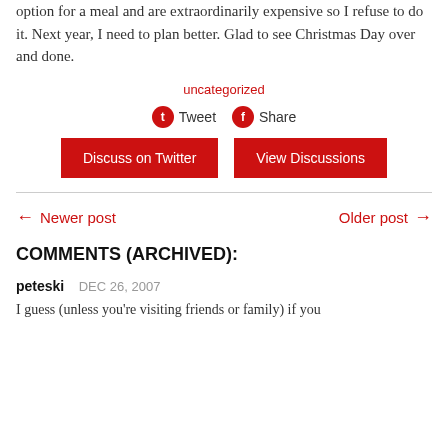option for a meal and are extraordinarily expensive so I refuse to do it. Next year, I need to plan better. Glad to see Christmas Day over and done.
uncategorized
Tweet  Share
Discuss on Twitter  View Discussions
← Newer post   Older post →
COMMENTS (ARCHIVED):
peteski  DEC 26, 2007
I guess (unless you're visiting friends or family) if you